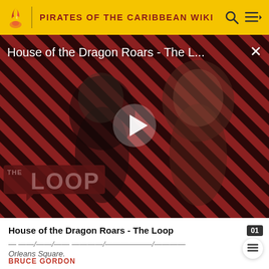PIRATES OF THE CARIBBEAN WIKI
[Figure (screenshot): Video player thumbnail showing House of the Dragon Roars - The Loop, with two characters in fantasy costumes against a diagonal red and black striped background. A play button icon is centered. 'THE LOOP' logo visible in lower left. A close (X) button in upper right.]
House of the Dragon Roars - The Loop
Orleans Square.
BRUCE GORDON